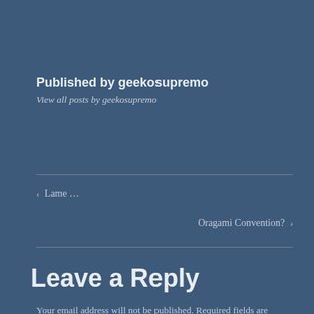Published by geekosupremo
View all posts by geekosupremo
‹  Lame …
Oragami Convention?  ›
Leave a Reply
Your email address will not be published. Required fields are marked *